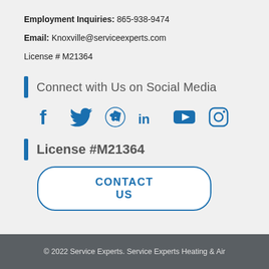Employment Inquiries: 865-938-9474
Email: Knoxville@serviceexperts.com
License # M21364
Connect with Us on Social Media
[Figure (other): Social media icons: Facebook, Twitter, Yelp, LinkedIn, YouTube, Instagram in blue]
License #M21364
CONTACT US
© 2022 Service Experts. Service Experts Heating & Air